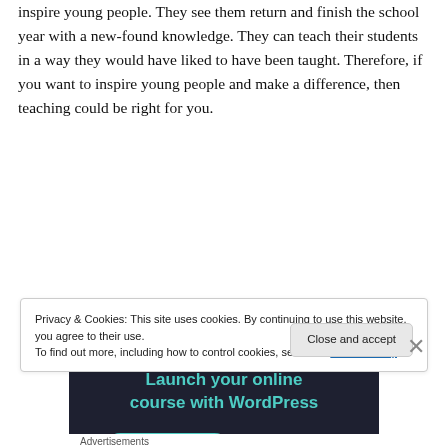inspire young people. They see them return and finish the school year with a new-found knowledge. They can teach their students in a way they would have liked to have been taught. Therefore, if you want to inspire young people and make a difference, then teaching could be right for you.
[Figure (other): Advertisement banner with dark background. Title: 'Launch your online course with WordPress'. Green 'Learn More' button.]
Privacy & Cookies: This site uses cookies. By continuing to use this website, you agree to their use.
To find out more, including how to control cookies, see here: Cookie Policy
Close and accept
Advertisements